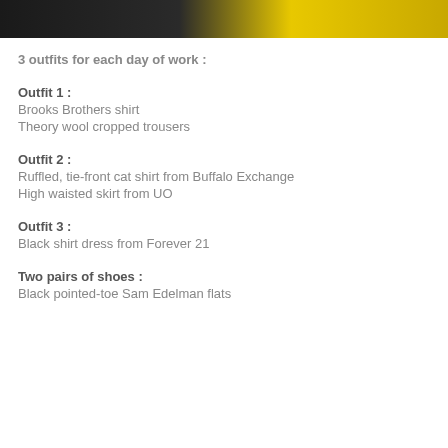[Figure (photo): Photo strip showing people wearing dark and yellow clothing]
3 outfits for each day of work :
Outfit 1 :
Brooks Brothers shirt
Theory wool cropped trousers
Outfit 2 :
Ruffled, tie-front cat shirt from Buffalo Exchange
High waisted skirt from UO
Outfit 3 :
Black shirt dress from Forever 21
Two pairs of shoes :
Black pointed-toe Sam Edelman flats